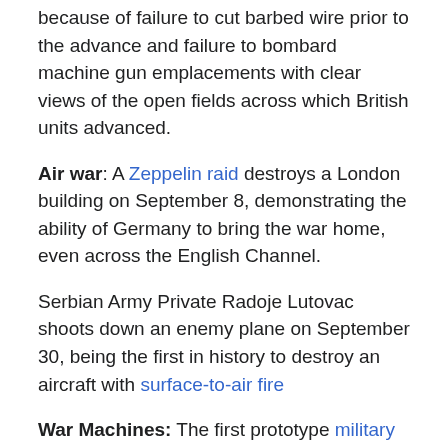because of failure to cut barbed wire prior to the advance and failure to bombard machine gun emplacements with clear views of the open fields across which British units advanced.
Air war: A Zeppelin raid destroys a London building on September 8, demonstrating the ability of Germany to bring the war home, even across the English Channel.
Serbian Army Private Radoje Lutovac shoots down an enemy plane on September 30, being the first in history to destroy an aircraft with surface-to-air fire
War Machines: The first prototype military tank is tested by the British on September 6.
Other News: